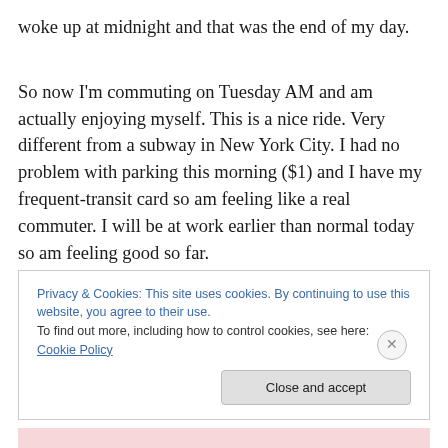woke up at midnight and that was the end of my day.
So now I'm commuting on Tuesday AM and am actually enjoying myself. This is a nice ride. Very different from a subway in New York City. I had no problem with parking this morning ($1) and I have my frequent-transit card so am feeling like a real commuter. I will be at work earlier than normal today so am feeling good so far.
Privacy & Cookies: This site uses cookies. By continuing to use this website, you agree to their use.
To find out more, including how to control cookies, see here: Cookie Policy
Close and accept